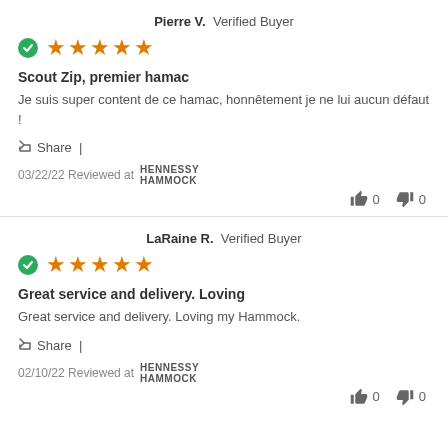Pierre V. Verified Buyer
[Figure (other): 5 star rating with green verified checkmark]
Scout Zip, premier hamac
Je suis super content de ce hamac, honnêtement je ne lui aucun défaut !
Share |
03/22/22 Reviewed at HENNESSY HAMMOCK
0  0
LaRaine R. Verified Buyer
[Figure (other): 5 star rating with green verified checkmark]
Great service and delivery. Loving
Great service and delivery. Loving my Hammock.
Share |
02/10/22 Reviewed at HENNESSY HAMMOCK